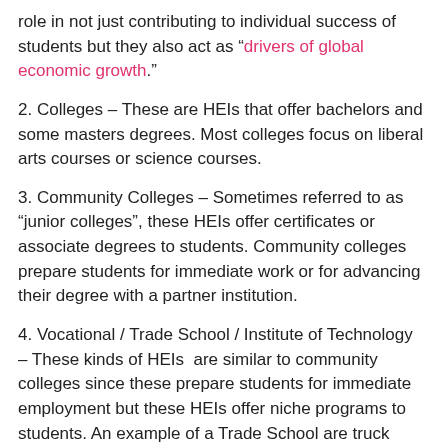role in not just contributing to individual success of students but they also act as “drivers of global economic growth.”
2. Colleges – These are HEIs that offer bachelors and some masters degrees. Most colleges focus on liberal arts courses or science courses.
3. Community Colleges – Sometimes referred to as “junior colleges”, these HEIs offer certificates or associate degrees to students. Community colleges prepare students for immediate work or for advancing their degree with a partner institution.
4. Vocational / Trade School / Institute of Technology – These kinds of HEIs  are similar to community colleges since these prepare students for immediate employment but these HEIs offer niche programs to students. An example of a Trade School are truck driving schools.
5. Distance learning (online learning/ education...